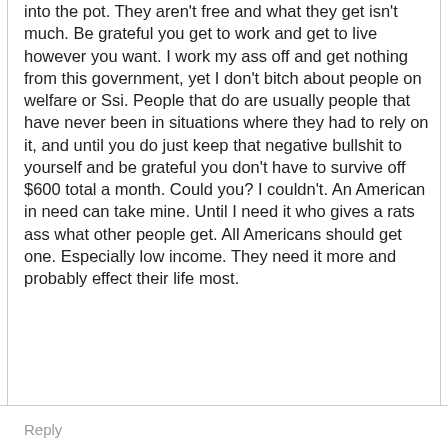into the pot. They aren't free and what they get isn't much. Be grateful you get to work and get to live however you want. I work my ass off and get nothing from this government, yet I don't bitch about people on welfare or Ssi. People that do are usually people that have never been in situations where they had to rely on it, and until you do just keep that negative bullshit to yourself and be grateful you don't have to survive off $600 total a month. Could you? I couldn't. An American in need can take mine. Until I need it who gives a rats ass what other people get. All Americans should get one. Especially low income. They need it more and probably effect their life most.
Reply